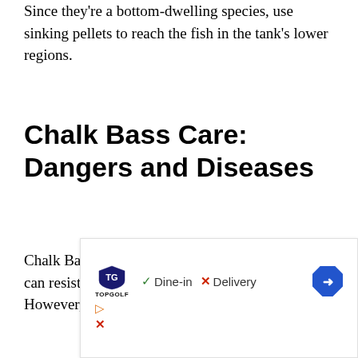Since they're a bottom-dwelling species, use sinking pellets to reach the fish in the tank's lower regions.
Chalk Bass Care: Dangers and Diseases
Chalk Bass saltwater fish are a hardy species that can resist several infections and diseases. However, your success depends
[Figure (other): Advertisement banner for Topgolf showing logo, Dine-in checkmark, Delivery X mark, and navigation arrow.]